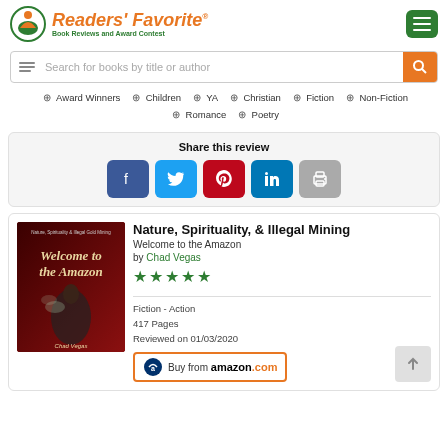Readers' Favorite - Book Reviews and Award Contest
Search for books by title or author
Award Winners | Children | YA | Christian | Fiction | Non-Fiction | Romance | Poetry
Share this review
[Figure (infographic): Social share buttons: Facebook, Twitter, Pinterest, LinkedIn, Print]
[Figure (photo): Book cover for Welcome to the Amazon by Chad Vegas — dark red background with indigenous figure]
Nature, Spirituality, & Illegal Mining
Welcome to the Amazon
by Chad Vegas
[Figure (infographic): 5 green stars rating]
Fiction - Action
417 Pages
Reviewed on 01/03/2020
[Figure (infographic): Buy from amazon.com button]